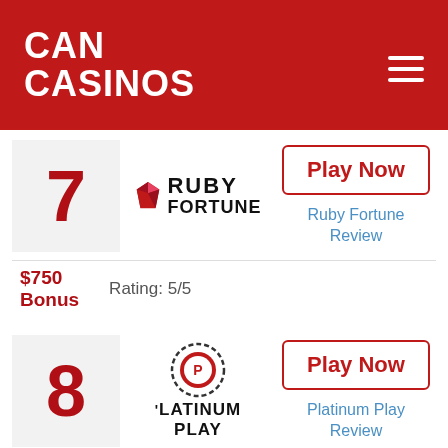CAN CASINOS
7 Ruby Fortune — Play Now — Ruby Fortune Review — $750 Bonus — Rating: 5/5
8 Platinum Play — Play Now — Platinum Play Review — $1600 Bonus — Rating: 4.1/5
9 Lucky Nugget — Play Now